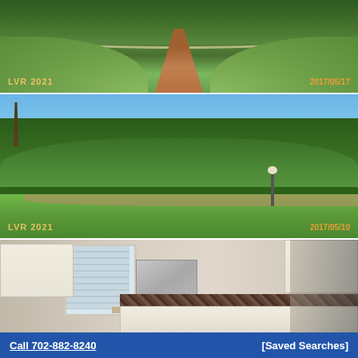[Figure (photo): Exterior photo showing a manicured lawn with a curved brick pathway leading to a building entrance, surrounded by lush green shrubs. Watermark 'LVR 2021' at bottom left, date stamp at bottom right.]
[Figure (photo): Exterior landscape photo showing large green bushes and trees with a well-trimmed hedge, green lawn, a lamp post, and a palm tree visible on the left. Blue sky in background. Watermark 'LVR 2021' at bottom left, date stamp at bottom right.]
[Figure (photo): Interior kitchen photo showing white cabinets, a stainless steel microwave above the range, a window with blinds, and dark tile backsplash.]
Call 702-882-8240    [Saved Searches]